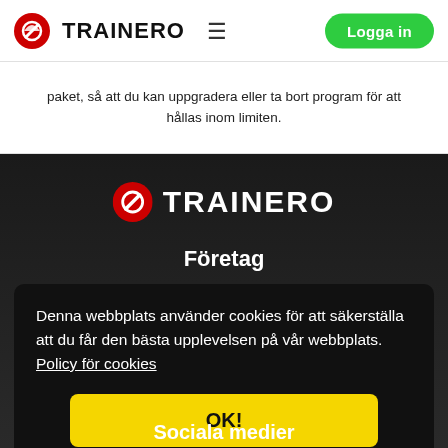TRAINERO  ≡  Logga in
paket, så att du kan uppgradera eller ta bort program för att hållas inom limiten.
[Figure (logo): Trainero logo large white on dark background]
Företag
Denna webbplats använder cookies för att säkerställa att du får den bästa upplevelsen på vår webbplats.  Policy för cookies
OK!
Sociala medier